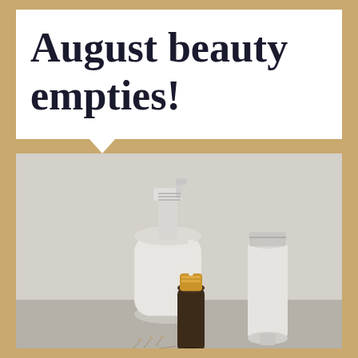August beauty empties!
[Figure (photo): Three minimalist white beauty product containers on a grey surface: a large white pump bottle in the center, a white squeeze tube on the right, a small dark amber dropper bottle with gold cap in the front center, and a sprig of dried herbs at the base.]